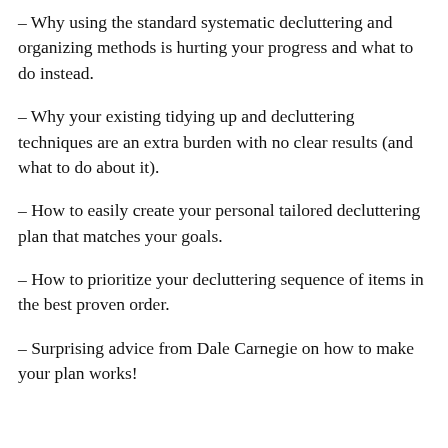– Why using the standard systematic decluttering and organizing methods is hurting your progress and what to do instead.
– Why your existing tidying up and decluttering techniques are an extra burden with no clear results (and what to do about it).
– How to easily create your personal tailored decluttering plan that matches your goals.
– How to prioritize your decluttering sequence of items in the best proven order.
– Surprising advice from Dale Carnegie on how to make your plan works!